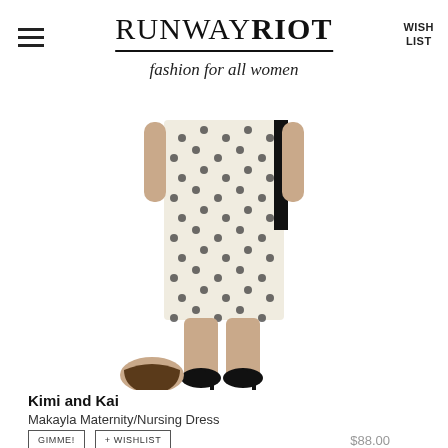RUNWAY RIOT — fashion for all women | WISH LIST
[Figure (photo): A woman wearing a cream/ivory polka dot maternity/nursing dress with a black side accent, shown from torso down, wearing black heels. Below the image appears another model's head with dark hair.]
Kimi and Kai
Makayla Maternity/Nursing Dress
GIMME!  + WISHLIST  $88.00